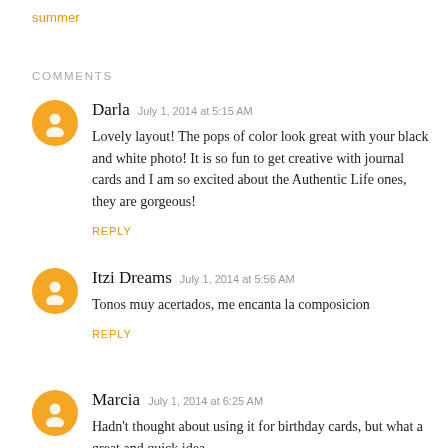summer
COMMENTS
Darla  July 1, 2014 at 5:15 AM
Lovely layout! The pops of color look great with your black and white photo! It is so fun to get creative with journal cards and I am so excited about the Authentic Life ones, they are gorgeous!
REPLY
Itzi Dreams  July 1, 2014 at 5:56 AM
Tonos muy acertados, me encanta la composicion
REPLY
Marcia  July 1, 2014 at 6:25 AM
Hadn't thought about using it for birthday cards, but what a great and quick idea